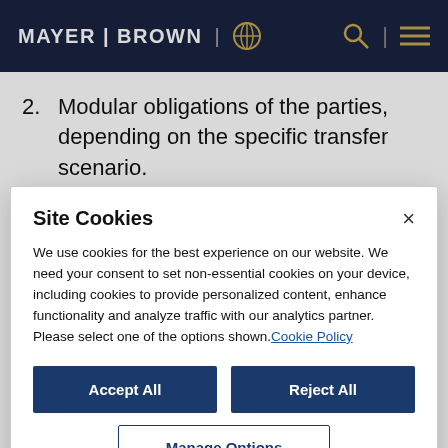MAYER | BROWN
2. Modular obligations of the parties, depending on the specific transfer scenario.
3. Final clauses: non-compliance and termination, governing law, choice of forum
Site Cookies
We use cookies for the best experience on our website. We need your consent to set non-essential cookies on your device, including cookies to provide personalized content, enhance functionality and analyze traffic with our analytics partner. Please select one of the options shown. Cookie Policy
Accept All
Reject All
Manage Options